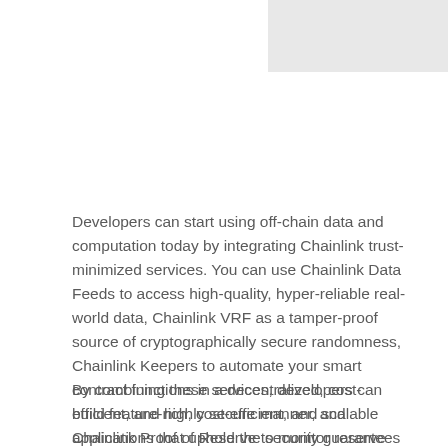[Figure (other): Partial image placeholder in upper right corner, light gray rectangle]
Developers can start using off-chain data and computation today by integrating Chainlink trust-minimized services. You can use Chainlink Data Feeds to access high-quality, hyper-reliable real-world data, Chainlink VRF as a tamper-proof source of cryptographically secure randomness, Chainlink Keepers to automate your smart contract functions in a decentralized, cost-efficient, and highly secure manner, and Chainlink Proof of Reserve to monitor reserve assets using automated audits.
By combining these services, developers can build feature-rich, cost-efficient, and scalable applications that uphold the security guarantees of blockchains. If you want to leverage off-chain computation in your